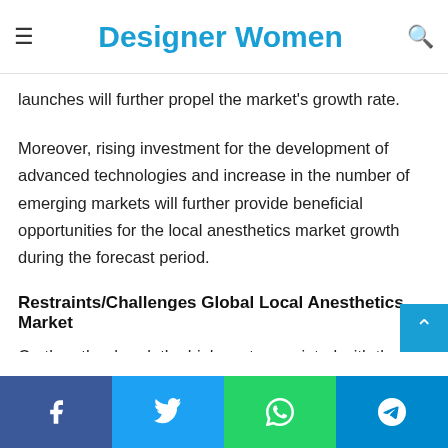Designer Women
number of research and development activities. This will boost the local anesthetics market growth. Along with this, rising drug approvals and launches will further propel the market's growth rate.
Moreover, rising investment for the development of advanced technologies and increase in the number of emerging markets will further provide beneficial opportunities for the local anesthetics market growth during the forecast period.
Restraints/Challenges Global Local Anesthetics Market
On the other hand, the high cost associated with the local anesthetics will obstruct the growth rate of market. The dearth of skilled professionals and lack of healthcare infrastructure in developing economies will challenge the local anesthetics
Facebook  Twitter  WhatsApp  Telegram